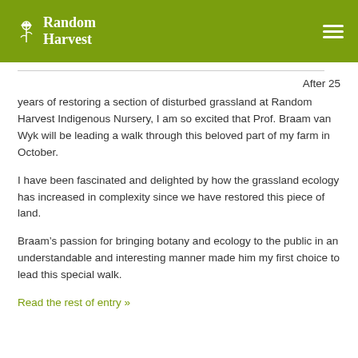Random Harvest
After 25 years of restoring a section of disturbed grassland at Random Harvest Indigenous Nursery, I am so excited that Prof. Braam van Wyk will be leading a walk through this beloved part of my farm in October.
I have been fascinated and delighted by how the grassland ecology has increased in complexity since we have restored this piece of land.
Braam’s passion for bringing botany and ecology to the public in an understandable and interesting manner made him my first choice to lead this special walk.
Read the rest of entry »